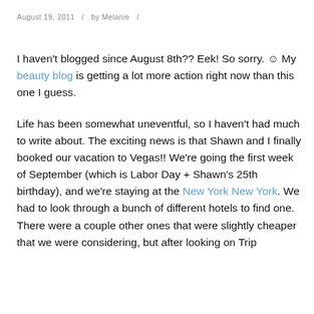August 19, 2011  /  by Melanie  /
I haven't blogged since August 8th?? Eek! So sorry. ☺ My beauty blog is getting a lot more action right now than this one I guess.
Life has been somewhat uneventful, so I haven't had much to write about. The exciting news is that Shawn and I finally booked our vacation to Vegas!! We're going the first week of September (which is Labor Day + Shawn's 25th birthday), and we're staying at the New York New York. We had to look through a bunch of different hotels to find one. There were a couple other ones that were slightly cheaper that we were considering, but after looking on Trip